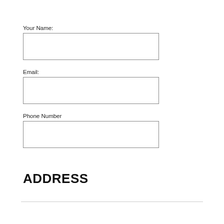Your Name:
Email:
Phone Number
ADDRESS